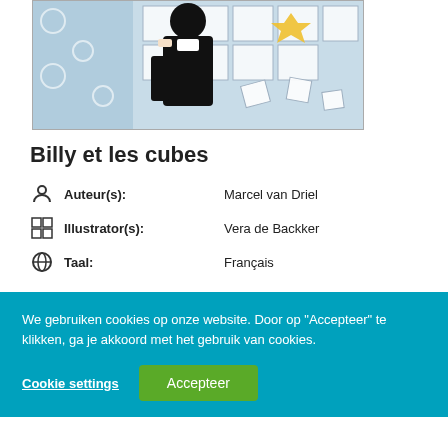[Figure (illustration): Book cover illustration of Billy et les cubes showing a figure in black with cubes/geometric shapes in background]
Billy et les cubes
Auteur(s): Marcel van Driel
Illustrator(s): Vera de Backker
Taal: Français
We gebruiken cookies op onze website. Door op "Accepteer" te klikken, ga je akkoord met het gebruik van cookies.
Cookie settings
Accepteer